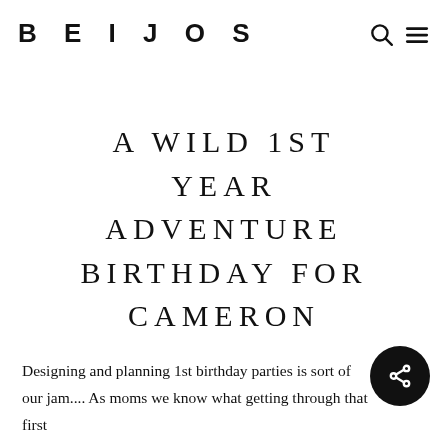BEIJOS
A WILD 1ST YEAR ADVENTURE BIRTHDAY FOR CAMERON
Designing and planning 1st birthday parties is sort of our jam.... As moms we know what getting through that first